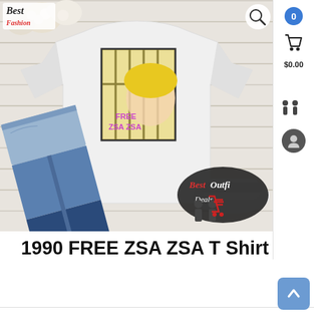[Figure (photo): Product photo of a white t-shirt with 'FREE ZSA ZSA' graphic print showing a blonde woman behind bars, displayed flat with denim jeans and white sneakers on a white wood background. Best Fashion logo top left. Best Outfit Deals watermark bottom right.]
1990 FREE ZSA ZSA T Shirt